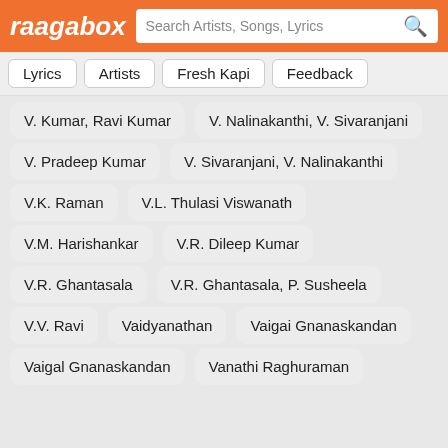raagabox — Search Artists, Songs, Lyrics
Lyrics
Artists
Fresh Kapi
Feedback
V. Kumar, Ravi Kumar
V. Nalinakanthi, V. Sivaranjani
V. Pradeep Kumar
V. Sivaranjani, V. Nalinakanthi
V.K. Raman
V.L. Thulasi Viswanath
V.M. Harishankar
V.R. Dileep Kumar
V.R. Ghantasala
V.R. Ghantasala, P. Susheela
V.V. Ravi
Vaidyanathan
Vaigai Gnanaskandan
Vaigal Gnanaskandan
Vanathi Raghuraman